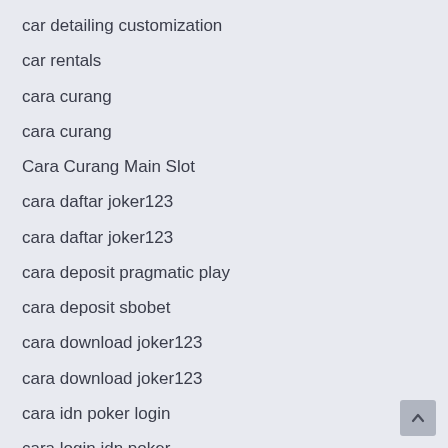car detailing customization
car rentals
cara curang
cara curang
Cara Curang Main Slot
cara daftar joker123
cara daftar joker123
cara deposit pragmatic play
cara deposit sbobet
cara download joker123
cara download joker123
cara idn poker login
cara login idn poker
cara login idn poker
careers employment